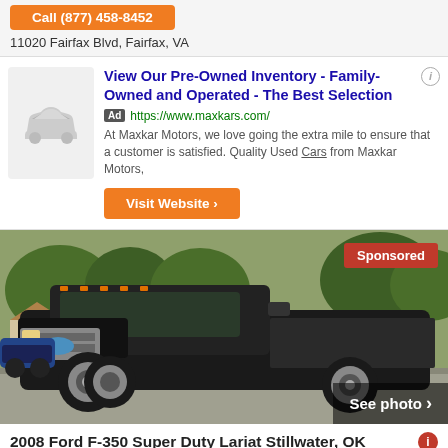Call (877) 458-8452
11020 Fairfax Blvd, Fairfax, VA
View Our Pre-Owned Inventory - Family-Owned and Operated - The Best Selection
Ad https://www.maxkars.com/
At Maxkar Motors, we love going the extra mile to ensure that a customer is satisfied. Quality Used Cars from Maxkar Motors,
Visit Website ›
[Figure (photo): Black Ford F-350 Super Duty truck parked in a lot, front 3/4 view, with a 'Sponsored' red badge in the top right and 'See photo ›' overlay at bottom right]
2008 Ford F-350 Super Duty Lariat Stillwater, OK